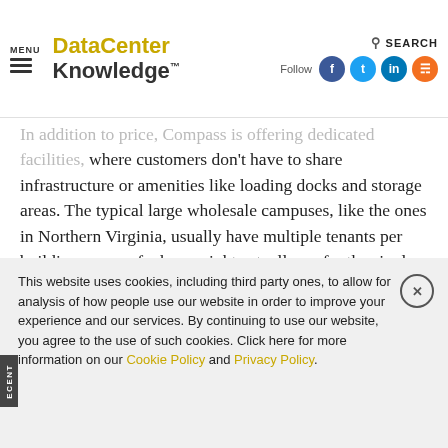MENU | DataCenter Knowledge | Follow | SEARCH
In addition to price, Compass is offering dedicated facilities, where customers don't have to share infrastructure or amenities like loading docks and storage areas. The typical large wholesale campuses, like the ones in Northern Virginia, usually have multiple tenants per building, some of whom might actually prefer the single-tenant option.
More Density Options
The basic unit of capacity is still 1.2 MW, but where the old
This website uses cookies, including third party ones, to allow for analysis of how people use our website in order to improve your experience and our services. By continuing to use our website, you agree to the use of such cookies. Click here for more information on our Cookie Policy and Privacy Policy.